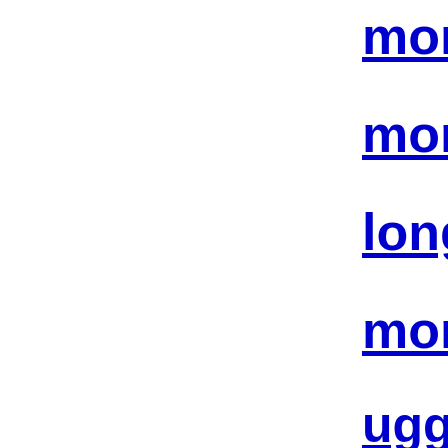moncler ou…
moncler co…
longchamp…
moncler ou…
ugg outlet…
canada go…
adidas out…
yeezy shoe…
cheap jord…